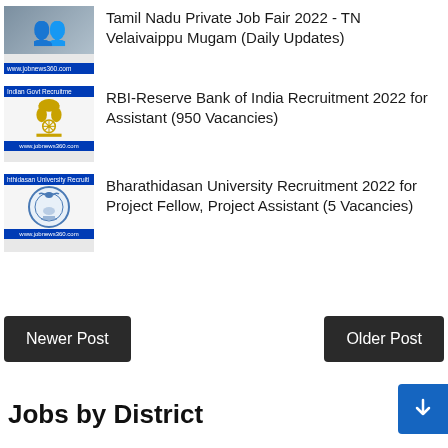Tamil Nadu Private Job Fair 2022 - TN Velaivaippu Mugam (Daily Updates)
RBI-Reserve Bank of India Recruitment 2022 for Assistant (950 Vacancies)
Bharathidasan University Recruitment 2022 for Project Fellow, Project Assistant (5 Vacancies)
Newer Post
Older Post
Jobs by District